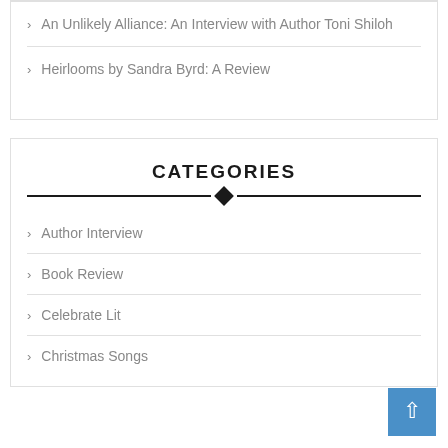An Unlikely Alliance: An Interview with Author Toni Shiloh
Heirlooms by Sandra Byrd: A Review
CATEGORIES
Author Interview
Book Review
Celebrate Lit
Christmas Songs